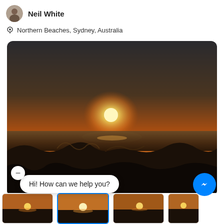Neil White
Northern Beaches, Sydney, Australia
[Figure (photo): Sunset over the ocean with waves in the foreground, taken from Northern Beaches, Sydney, Australia. The sky is orange and dark brown, with a bright sun near the horizon.]
Hi! How can we help you?
[Figure (photo): Row of thumbnail images showing sunset beach photos at the bottom of the screen.]